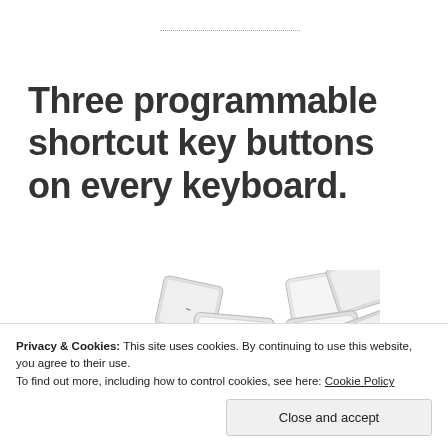Three programmable shortcut key buttons on every keyboard.
[Figure (photo): A pile of white keyboard keys photographed on white background, showing individual keycaps scattered/stacked]
Privacy & Cookies: This site uses cookies. By continuing to use this website, you agree to their use.
To find out more, including how to control cookies, see here: Cookie Policy